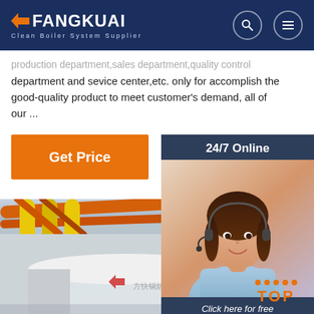FANGKUAI - Clean Boiler System Supplier
production department,sales department,quality control department and sevice center,etc. only for accomplish the good-quality product to meet customer's demand, all of our ...
[Figure (photo): Orange Get Price button on left side]
[Figure (photo): Side panel with 24/7 Online badge, female customer service agent with headset, 'Click here for free chat!' text, and QUOTATION button]
[Figure (photo): Factory interior showing industrial boiler equipment with yellow and orange pipes, Fangkuai branding on white cylindrical boiler]
[Figure (other): TOP navigation button with orange dots and orange text]